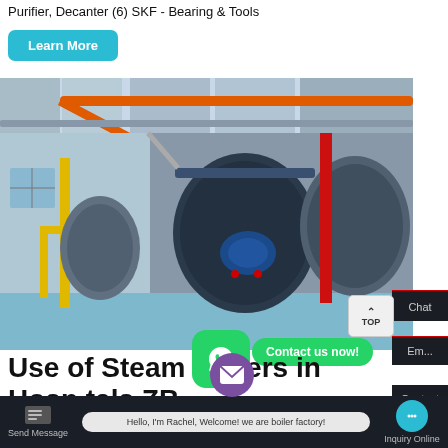Purifier, Decanter (6) SKF - Bearing & Tools
Learn More
[Figure (photo): Industrial steam boiler room with large cylindrical boilers, orange and red overhead pipes, yellow support structures, and blue machinery components on a light blue floor.]
Chat
Em...
Contact
TOP
Contact us now!
Use of Steam Boilers in Hospitals ZB
Hello, I'm Rachel, Welcome! we are boiler factory!
Send Message
Inquiry Online